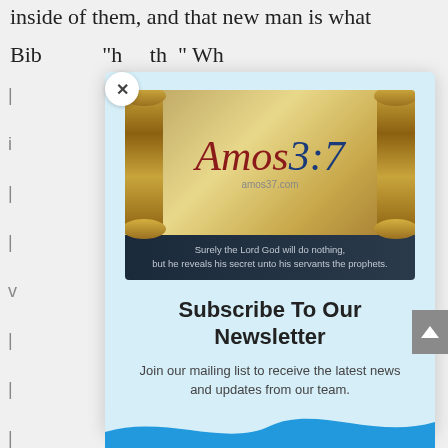inside of them, and that new man is what
Bib... calls ...the... Wh...
[Figure (logo): Amos 3:7 website logo featuring a scroll graphic with 'Amos 3:7' text and a dark banner reading 'Surely the Lord God will do nothing, but he reveals his secret unto his servants the prophets.']
Subscribe To Our Newsletter
Join our mailing list to receive the latest news and updates from our team.